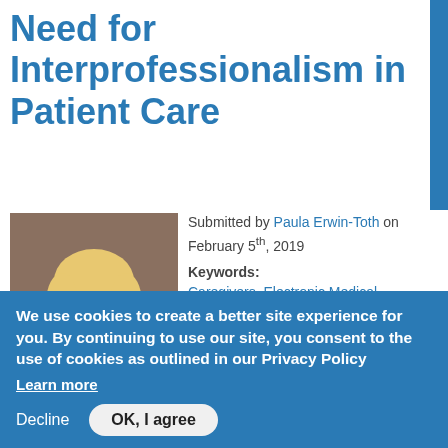Need for Interprofessionalism in Patient Care
[Figure (photo): Headshot photo of Paula Erwin-Toth, a woman with short blonde hair smiling]
Submitted by Paula Erwin-Toth on February 5th, 2019
Keywords:
Caregivers, Electronic Medical Records, Patient Education, Patient Outcomes
Paula Erwin Toth, RN, MSN, FAAN, WOC nurse
[Figure (photo): Scene photo showing two people in conversation, one younger person and one older person wearing glasses, with a plant in the background]
We use cookies to create a better site experience for you. By continuing to use our site, you consent to the use of cookies as outlined in our Privacy Policy
Learn more
Decline
OK, I agree